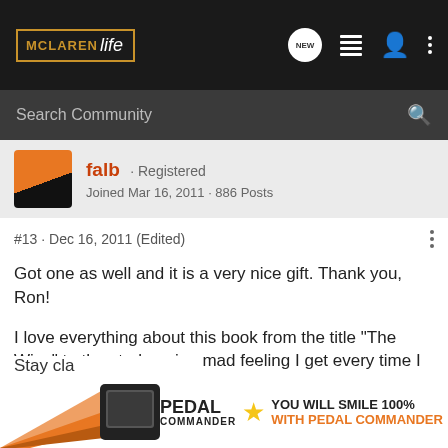McLaren Life · NEW · Search Community
falb · Registered · Joined Mar 16, 2011 · 886 Posts
#13 · Dec 16, 2011 (Edited)
Got one as well and it is a very nice gift. Thank you, Ron!
I love everything about this book from the title "The Wins" to the stark raving mad feeling I get every time I open it---I want a number 4 M8!!!
Stay cla...
[Figure (advertisement): Pedal Commander advertisement banner with orange racing stripe graphic, device image, brand logo, star icon, and text YOU WILL SMILE 100% WITH PEDAL COMMANDER]